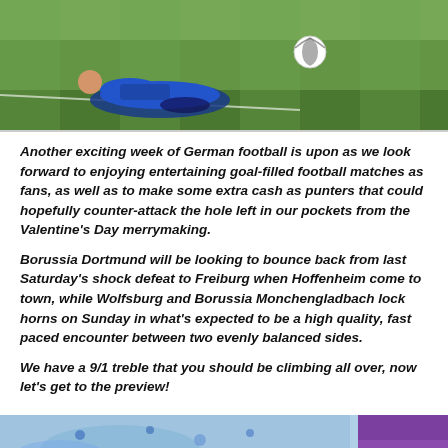[Figure (photo): Soccer/football player in blue kit sliding on green grass pitch with ball nearby]
Another exciting week of German football is upon as we look forward to enjoying entertaining goal-filled football matches as fans, as well as to make some extra cash as punters that could hopefully counter-attack the hole left in our pockets from the Valentine's Day merrymaking.
Borussia Dortmund will be looking to bounce back from last Saturday's shock defeat to Freiburg when Hoffenheim come to town, while Wolfsburg and Borussia Monchengladbach lock horns on Sunday in what's expected to be a high quality, fast paced encounter between two evenly balanced sides.
We have a 9/1 treble that you should be climbing all over, now let's get to the preview!
[Figure (photo): Sports scene with blue tones and purple box on right side]